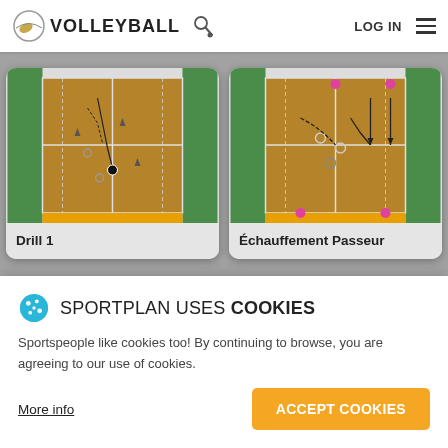VOLLEYBALL — LOG IN
[Figure (screenshot): Volleyball drill card 1 showing a court diagram with movement arrows and player positions on a tan/brown court with green side areas]
Drill 1
[Figure (screenshot): Volleyball drill card 2 showing a court diagram with player positions, arrows and pink markers on a tan/brown court with green side areas]
Échauffement Passeur
SPORTPLAN USES COOKIES
Sportspeople like cookies too! By continuing to browse, you are agreeing to our use of cookies.
More info
ACCEPT COOKIES